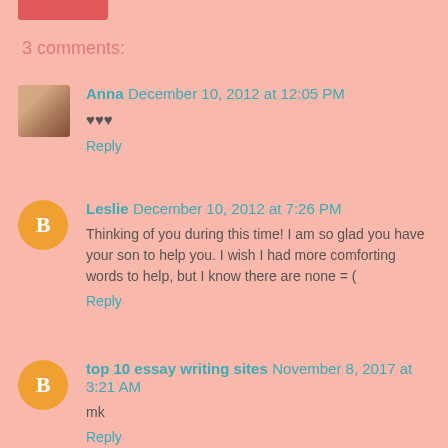3 comments:
Anna December 10, 2012 at 12:05 PM
♥♥♥
Reply
Leslie December 10, 2012 at 7:26 PM
Thinking of you during this time! I am so glad you have your son to help you. I wish I had more comforting words to help, but I know there are none = (
Reply
top 10 essay writing sites November 8, 2017 at 3:21 AM
mk
Reply